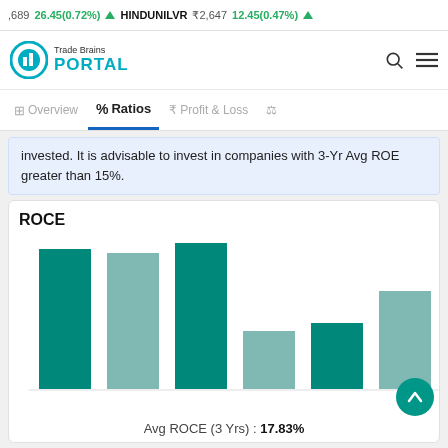689 26.45(0.72%) ▲  HINDUNILVR ₹2,647 12.45(0.47%) ▲
[Figure (logo): Trade Brains Portal logo with teal circular icon]
% Ratios (active tab), Overview, Profit & Loss
invested. It is advisable to invest in companies with 3-Yr Avg ROE greater than 15%.
[Figure (bar-chart): ROCE]
Avg ROCE (3 Yrs) : 17.83%